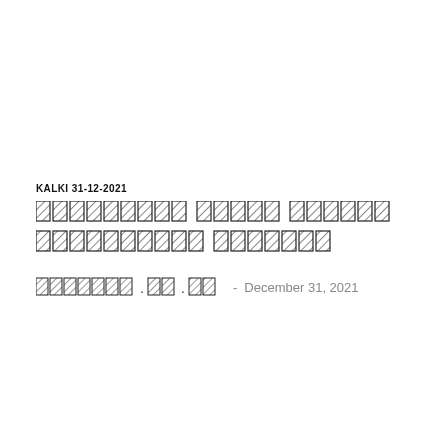KALKI 31-12-2021
[Tamil script title - unrenderable Unicode glyphs displayed as boxes]
[Tamil byline] - December 31, 2021